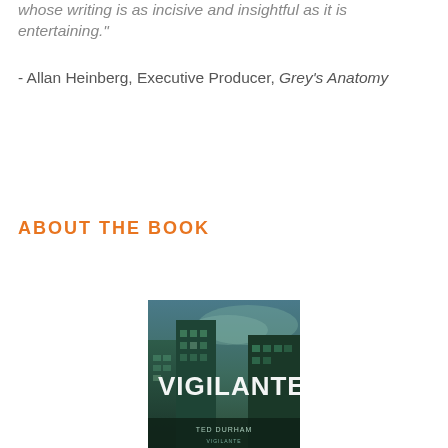whose writing is as incisive and insightful as it is entertaining."
- Allan Heinberg, Executive Producer, Grey's Anatomy
ABOUT THE BOOK
[Figure (photo): Book cover of 'Vigilante' with a dark green urban cityscape background and author name visible at the bottom]